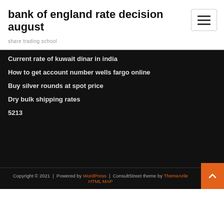bank of england rate decision august
share trading school
Current rate of kuwait dinar in india
How to get account number wells fargo online
Buy silver rounds at spot price
Dry bulk shipping rates
5213
Copyright © 2021 | Powered by WordPress | ConsultStreet theme by ThemeArile HTML MAP